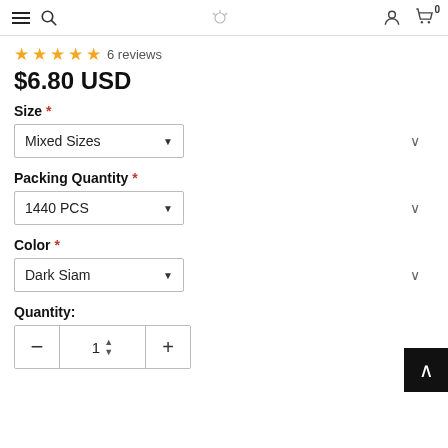Navigation header with hamburger menu, search, logo, user and cart icons
★★★★★ 6 reviews
$6.80 USD
Size *
Mixed Sizes
Packing Quantity *
1440 PCS
Color *
Dark Siam
Quantity:
- 1 +